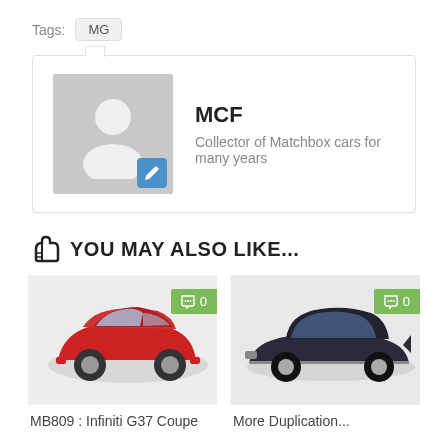Tags: MG
MCF
Collector of Matchbox cars for many years
YOU MAY ALSO LIKE...
[Figure (photo): Red Infiniti G37 Coupe die-cast model car with comment badge showing 0]
MB809 : Infiniti G37 Coupe
[Figure (photo): Dark navy blue classic car die-cast model with comment badge showing 0]
More Duplication...